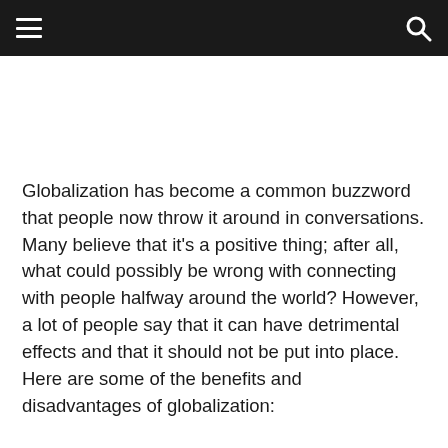[hamburger menu] [search icon]
Globalization has become a common buzzword that people now throw it around in conversations. Many believe that it’s a positive thing; after all, what could possibly be wrong with connecting with people halfway around the world? However, a lot of people say that it can have detrimental effects and that it should not be put into place. Here are some of the benefits and disadvantages of globalization: